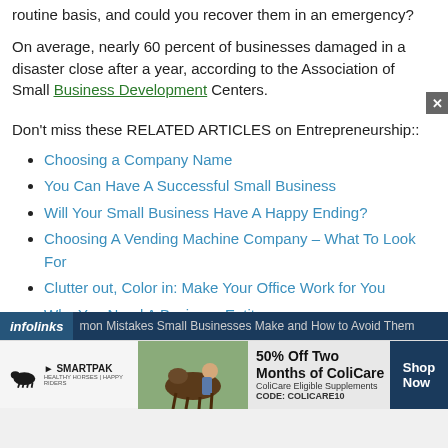routine basis, and could you recover them in an emergency?
On average, nearly 60 percent of businesses damaged in a disaster close after a year, according to the Association of Small Business Development Centers.
Don’t miss these RELATED ARTICLES on Entrepreneurship::
Choosing a Company Name
You Can Have A Successful Small Business
Will Your Small Business Have A Happy Ending?
Choosing A Vending Machine Company – What To Look For
Clutter out, Color in: Make Your Office Work for You
Why You Need A Business Entity
Common Mistakes Small Businesses Make and How to Avoid Them
[Figure (other): Infolinks advertisement bar and SmartPak banner ad showing 50% Off Two Months of ColiCare promotion with CODE: COLICARE10]